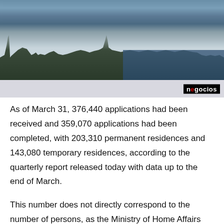[Figure (photo): Aerial photograph of London showing the Houses of Parliament, Westminster, and the River Thames. A grey bar at the bottom contains the 'negocios' logo in black and red.]
As of March 31, 376,440 applications had been received and 359,070 applications had been completed, with 203,310 permanent residences and 143,080 temporary residences, according to the quarterly report released today with data up to the end of March.
This number does not directly correspond to the number of persons, as the Ministry of Home Affairs proposes data copying methods for cases in which multiple applications are made, in which temporary status ('pre-settlement status') and then permanent status ('immigration status')